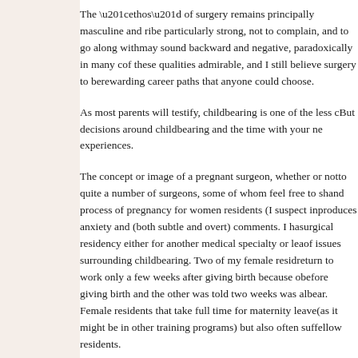The “ethos” of surgery remains principally masculine and ri... be particularly strong, not to complain, and to go along with... may sound backward and negative, paradoxically in many c... of these qualities admirable, and I still believe surgery to be... rewarding career paths that anyone could choose.
As most parents will testify, childbearing is one of the less c... But decisions around childbearing and the time with your ne... experiences.
The concept or image of a pregnant surgeon, whether or not... to quite a number of surgeons, some of whom feel free to sh... and process of pregnancy for women residents (I suspect in... produces anxiety and (both subtle and overt) comments. I ha... surgical residency either for another medical specialty or lea... of issues surrounding childbearing. Two of my female resid... return to work only a few weeks after giving birth because o... before giving birth and the other was told two weeks was al... bear. Female residents that take full time for maternity leave... (as it might be in other training programs) but also often suf... fellow residents.